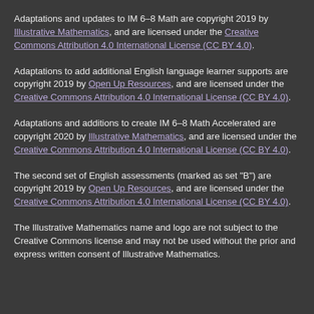Adaptations and updates to IM 6–8 Math are copyright 2019 by Illustrative Mathematics, and are licensed under the Creative Commons Attribution 4.0 International License (CC BY 4.0).
Adaptations to add additional English language learner supports are copyright 2019 by Open Up Resources, and are licensed under the Creative Commons Attribution 4.0 International License (CC BY 4.0).
Adaptations and additions to create IM 6–8 Math Accelerated are copyright 2020 by Illustrative Mathematics, and are licensed under the Creative Commons Attribution 4.0 International License (CC BY 4.0).
The second set of English assessments (marked as set "B") are copyright 2019 by Open Up Resources, and are licensed under the Creative Commons Attribution 4.0 International License (CC BY 4.0).
The Illustrative Mathematics name and logo are not subject to the Creative Commons license and may not be used without the prior and express written consent of Illustrative Mathematics.